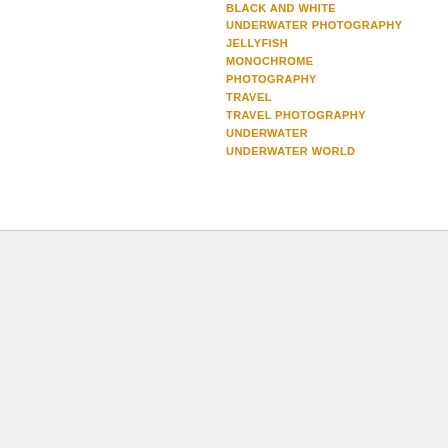BLACK AND WHITE UNDERWATER PHOTOGRAPHY
JELLYFISH
MONOCHROME
PHOTOGRAPHY
TRAVEL
TRAVEL PHOTOGRAPHY
UNDERWATER
UNDERWATER WORLD
46504, Under Water: Black and White Jellyfish at the
Advertisements
[Figure (screenshot): DuckDuckGo advertisement: 'Search, browse, and email with more privacy. All in One Free App' with a phone image showing the DuckDuckGo app.]